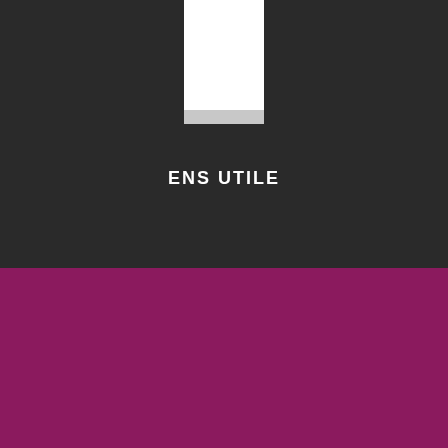[Figure (logo): White rectangular logo box on dark background with a light gray bottom bar]
ENS UTILE
Nous utilisons des cookies pour optimiser notre site web et notre service. Cliquez "Accepter tous", pour valider. Consultez notre "Page de Confidentialité"
Lire Page de Confidentialité
Page de Confidentialité
Accepter tous